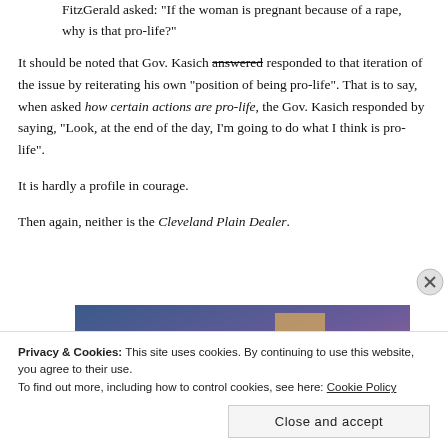FitzGerald asked: "If the woman is pregnant because of a rape, why is that pro-life?"
It should be noted that Gov. Kasich answered responded to that iteration of the issue by reiterating his own “position of being pro-life”. That is to say, when asked how certain actions are pro-life, the Gov. Kasich responded by saying, “Look, at the end of the day, I’m going to do what I think is pro-life”.
It is hardly a profile in courage.
Then again, neither is the Cleveland Plain Dealer.
[Figure (photo): Advertisement banner image with blue-to-purple gradient background]
Privacy & Cookies: This site uses cookies. By continuing to use this website, you agree to their use.
To find out more, including how to control cookies, see here: Cookie Policy
Close and accept